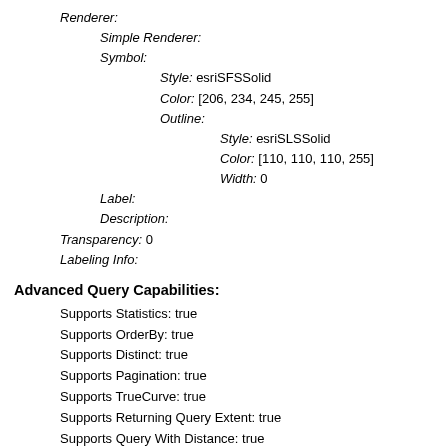Renderer:
Simple Renderer:
Symbol:
Style: esriSFSSolid
Color: [206, 234, 245, 255]
Outline:
Style: esriSLSSolid
Color: [110, 110, 110, 255]
Width: 0
Label:
Description:
Transparency: 0
Labeling Info:
Advanced Query Capabilities:
Supports Statistics: true
Supports OrderBy: true
Supports Distinct: true
Supports Pagination: true
Supports TrueCurve: true
Supports Returning Query Extent: true
Supports Query With Distance: true
Supports Sql Expression: true
Supports Query With ResultType: false
Supports Returning Geometry Centroid: false
Supports Binning LOD: false
Supports Query With LOD Spatial Reference: false